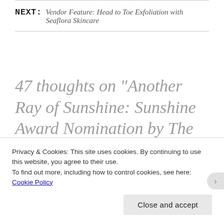NEXT: Vendor Feature: Head to Toe Exfoliation with Seaflora Skincare
47 thoughts on “Another Ray of Sunshine: Sunshine Award Nomination by The Strawberry Post”
Privacy & Cookies: This site uses cookies. By continuing to use this website, you agree to their use.
To find out more, including how to control cookies, see here: Cookie Policy